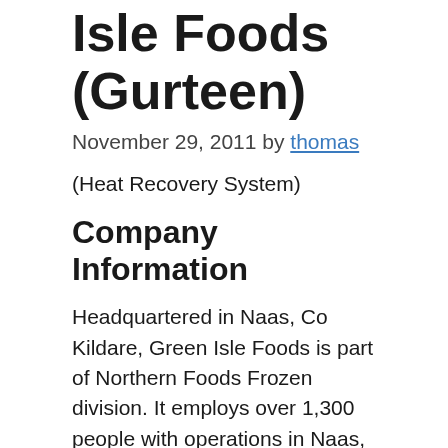Isle Foods (Gurteen)
November 29, 2011 by thomas
(Heat Recovery System)
Company Information
Headquartered in Naas, Co Kildare, Green Isle Foods is part of Northern Foods Frozen division. It employs over 1,300 people with operations in Naas, Portumna, Longford, and Gurteen, and produces a range of branded frozen foods. The Green Isle Food (Gurteen)